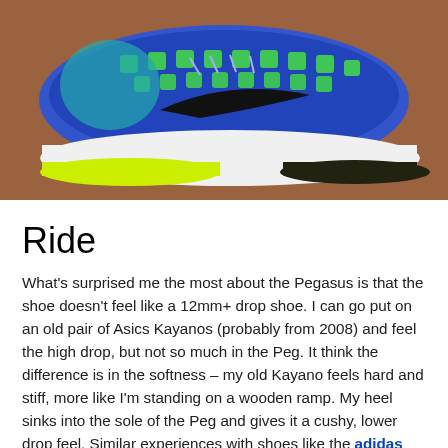[Figure (photo): Side profile photo of a blue Nike Pegasus running shoe with black Nike swoosh, green perforated upper, white midsole, and yellow-green outsole, photographed on a brown/terracotta surface.]
Ride
What's surprised me the most about the Pegasus is that the shoe doesn't feel like a 12mm+ drop shoe. I can go put on an old pair of Asics Kayanos (probably from 2008) and feel the high drop, but not so much in the Peg. It think the difference is in the softness – my old Kayano feels hard and stiff, more like I'm standing on a wooden ramp. My heel sinks into the sole of the Peg and gives it a cushy, lower drop feel. Similar experiences with shoes like the adidas Adios Boost and New Balance 1400v2 have really changed how I use drop data to choose shoes to try and review. I've come to think of static drop as a number that